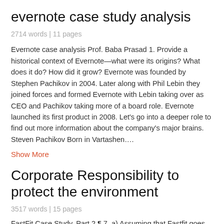evernote case study analysis
2714 words | 11 pages
Evernote case analysis Prof. Baba Prasad 1. Provide a historical context of Evernote—what were its origins? What does it do? How did it grow? Evernote was founded by Stephen Pachikov in 2004. Later along with Phil Lebin they joined forces and formed Evernote with Lebin taking over as CEO and Pachikov taking more of a board role. Evernote launched its first product in 2008. Let's go into a deeper role to find out more information about the company's major brains. Steven Pachikov Born in Vartashen….
Show More
Corporate Responsibility to protect the environment
3517 words | 15 pages
FastFit Case Study. Part 2 ¶ 7. a) Assuming that Fastfit goes ahead